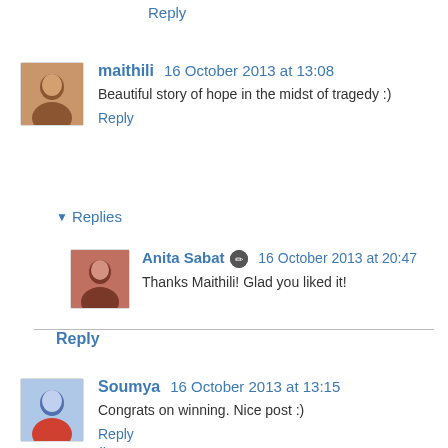Reply
maithili 16 October 2013 at 13:08
Beautiful story of hope in the midst of tragedy :)
Reply
▼ Replies
Anita Sabat [icon] 16 October 2013 at 20:47
Thanks Maithili! Glad you liked it!
Reply
Soumya 16 October 2013 at 13:15
Congrats on winning. Nice post :)
Reply
▼ Replies